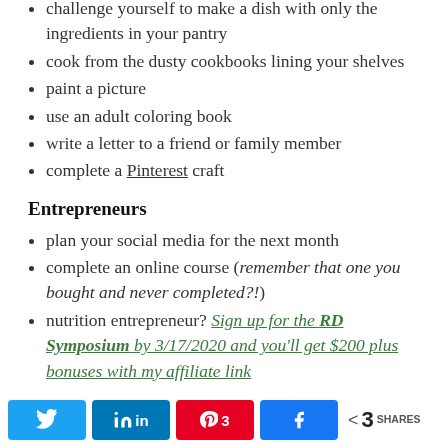challenge yourself to make a dish with only the ingredients in your pantry
cook from the dusty cookbooks lining your shelves
paint a picture
use an adult coloring book
write a letter to a friend or family member
complete a Pinterest craft
Entrepreneurs
plan your social media for the next month
complete an online course (remember that one you bought and never completed?!)
nutrition entrepreneur? Sign up for the RD Symposium by 3/17/2020 and you'll get $200 plus bonuses with my affiliate link
Twitter share, LinkedIn share, Pinterest 3, Facebook share, < 3 SHARES